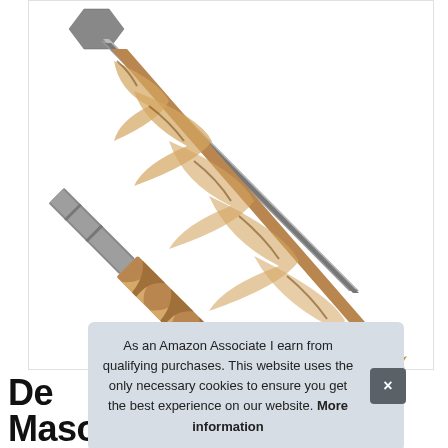[Figure (photo): A masonry drill bit with a bronze/gold twisted flute and hexagonal shank, photographed diagonally against a white background.]
As an Amazon Associate I earn from qualifying purchases. This website uses the only necessary cookies to ensure you get the best experience on our website. More information
De
Masonry Drill Bit